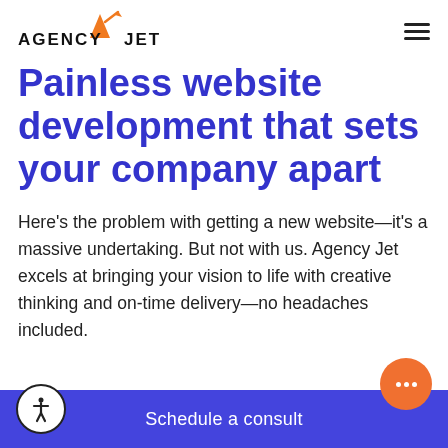AGENCY JET
Painless website development that sets your company apart
Here's the problem with getting a new website—it's a massive undertaking. But not with us. Agency Jet excels at bringing your vision to life with creative thinking and on-time delivery—no headaches included.
Schedule a consult